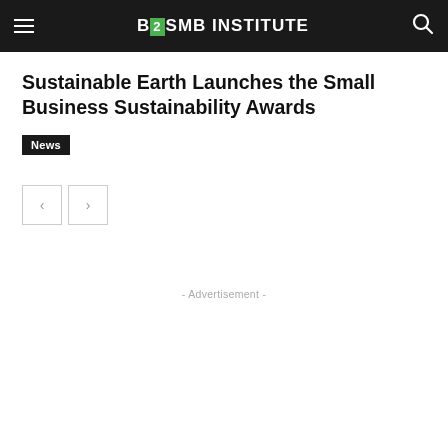B2SMB INSTITUTE
Sustainable Earth Launches the Small Business Sustainability Awards
News
- Advertisement -